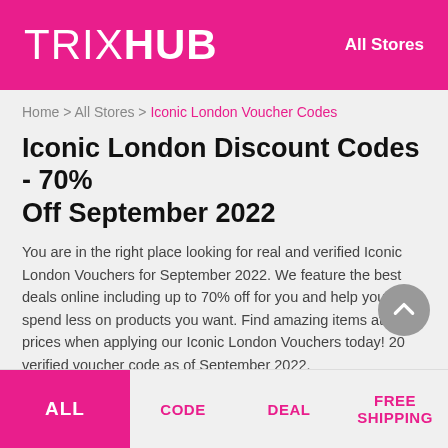TRIXHUB — All Stores
Home > All Stores > Iconic London Voucher Codes
Iconic London Discount Codes - 70% Off September 2022
You are in the right place looking for real and verified Iconic London Vouchers for September 2022. We feature the best deals online including up to 70% off for you and help you to spend less on products you want. Find amazing items at great prices when applying our Iconic London Vouchers today! 20 verified voucher code as of September 2022.
ALL | CODE | DEAL | FREE SHIPPING